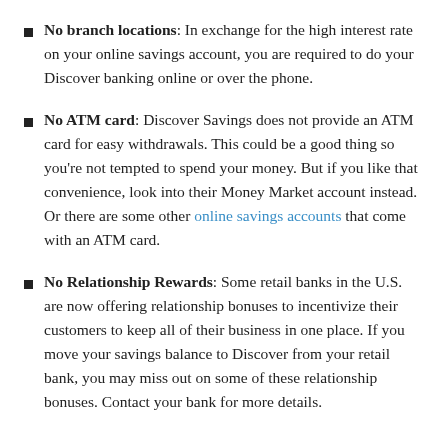No branch locations: In exchange for the high interest rate on your online savings account, you are required to do your Discover banking online or over the phone.
No ATM card: Discover Savings does not provide an ATM card for easy withdrawals. This could be a good thing so you're not tempted to spend your money. But if you like that convenience, look into their Money Market account instead. Or there are some other online savings accounts that come with an ATM card.
No Relationship Rewards: Some retail banks in the U.S. are now offering relationship bonuses to incentivize their customers to keep all of their business in one place. If you move your savings balance to Discover from your retail bank, you may miss out on some of these relationship bonuses. Contact your bank for more details.